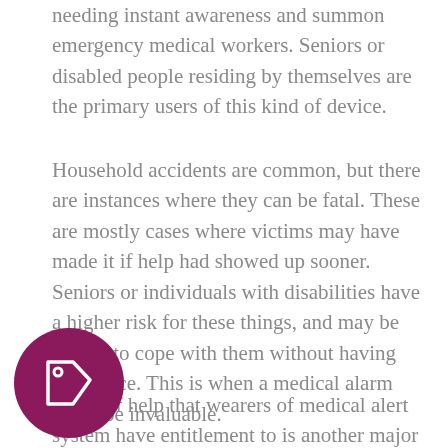needing instant awareness and summon emergency medical workers. Seniors or disabled people residing by themselves are the primary users of this kind of device.
Household accidents are common, but there are instances where they can be fatal. These are mostly cases where victims may have made it if help had showed up sooner. Seniors or individuals with disabilities have a higher risk for these things, and may be unable to cope with them without having assistance. This is when a medical alarm could be invaluable.
[Figure (illustration): A circular magenta/dark pink button with a white price tag icon in the center]
ndard of help that wearers of medical alert system have entitlement to is another major